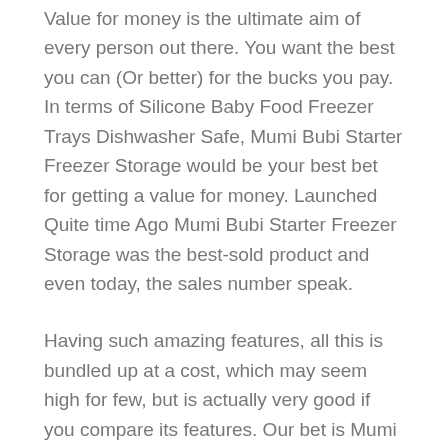Value for money is the ultimate aim of every person out there. You want the best you can (Or better) for the bucks you pay. In terms of Silicone Baby Food Freezer Trays Dishwasher Safe, Mumi Bubi Starter Freezer Storage would be your best bet for getting a value for money. Launched Quite time Ago Mumi Bubi Starter Freezer Storage was the best-sold product and even today, the sales number speak.
Having such amazing features, all this is bundled up at a cost, which may seem high for few, but is actually very good if you compare its features. Our bet is Mumi Bubi Starter Freezer Storage would be the Best Silicone Baby Food Freezer Trays Dishwasher Safe for Money.
2. Melii Silicone Baby Food Freezer